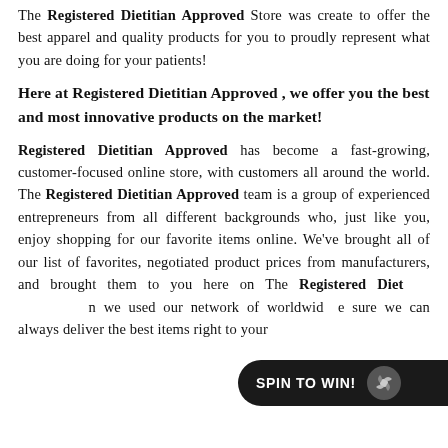The Registered Dietitian Approved Store was create to offer the best apparel and quality products for you to proudly represent what you are doing for your patients!
Here at Registered Dietitian Approved , we offer you the best and most innovative products on the market!
Registered Dietitian Approved has become a fast-growing, customer-focused online store, with customers all around the world. The Registered Dietitian Approved team is a group of experienced entrepreneurs from all different backgrounds who, just like you, enjoy shopping for our favorite items online. We've brought all of our list of favorites, negotiated product prices from manufacturers, and brought them to you here on The Registered Dietitian Approved. we used our network of worldwide sure we can always deliver the best items right to your
[Figure (other): SPIN TO WIN! button overlay with pinwheel icon in dark background]